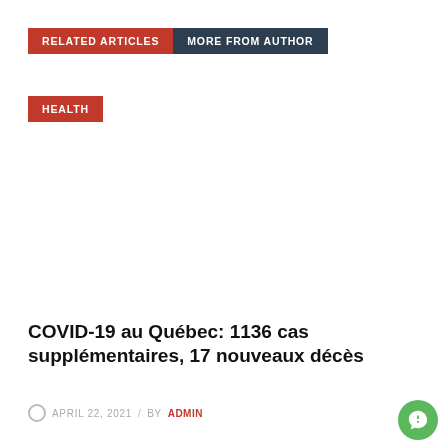RELATED ARTICLES  MORE FROM AUTHOR
HEALTH
COVID-19 au Québec: 1136 cas supplémentaires, 17 nouveaux décès
APRIL 22, 2021  /  BY ADMIN